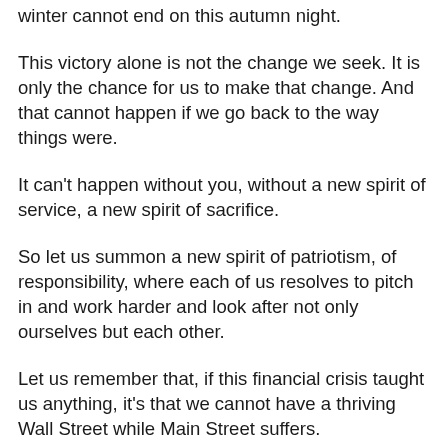winter cannot end on this autumn night.
This victory alone is not the change we seek. It is only the chance for us to make that change. And that cannot happen if we go back to the way things were.
It can't happen without you, without a new spirit of service, a new spirit of sacrifice.
So let us summon a new spirit of patriotism, of responsibility, where each of us resolves to pitch in and work harder and look after not only ourselves but each other.
Let us remember that, if this financial crisis taught us anything, it's that we cannot have a thriving Wall Street while Main Street suffers.
In this country, we rise or fall as one nation, as one people. Let's resist the temptation to fall back on the same partisanship and pettiness and immaturity that has poisoned our politics for so